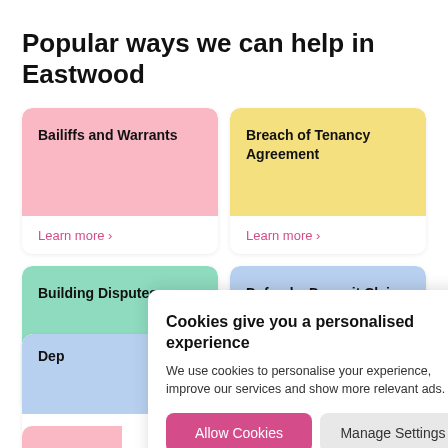Popular ways we can help in Eastwood
Bailiffs and Warrants
Learn more >
Breach of Tenancy Agreement
Learn more >
Building Disputes
Learn more >
Defend a Deposit Claim
Learn more >
Dep...
Lear...
Cookies give you a personalised experience
We use cookies to personalise your experience, improve our services and show more relevant ads.
Allow Cookies
Manage Settings